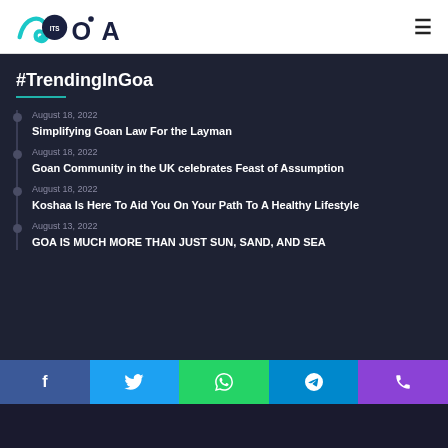ItsGoa logo and navigation
#TrendingInGoa
August 18, 2022 — Simplifying Goan Law For the Layman
August 18, 2022 — Goan Community in the UK celebrates Feast of Assumption
August 18, 2022 — Koshaa Is Here To Aid You On Your Path To A Healthy Lifestyle
August 13, 2022 — GOA IS MUCH MORE THAN JUST SUN, SAND, AND SEA
Facebook | Twitter | WhatsApp | Telegram | Phone